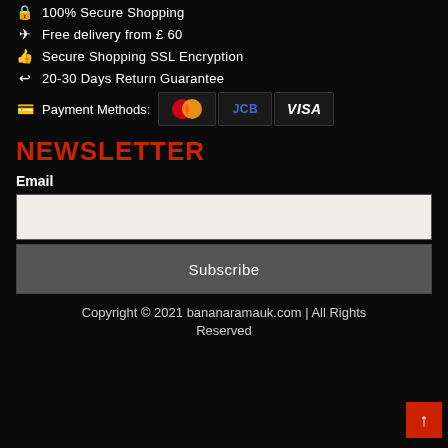🔒 100% Secure Shopping
✈ Free delivery from £ 60
👍 Secure Shopping SSL Encryption
↩ 20-30 Days Return Guarantee
💳 Payment Methods: [Mastercard] [JCB] [VISA]
NEWSLETTER
Email
Subscribe
Copyright © 2021 bananaramauk.com | All Rights Reserved